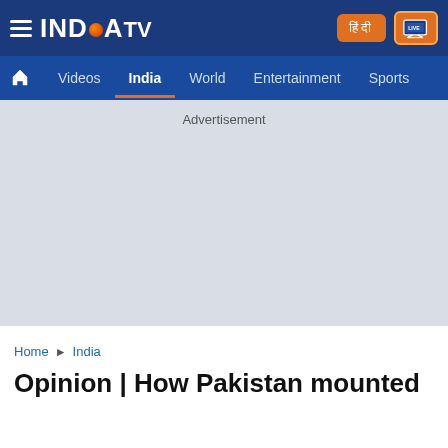INDIA TV — Navigation bar with Videos, India, World, Entertainment, Sports
[Figure (other): Advertisement placeholder area (grey background)]
Home › India
Opinion | How Pakistan mounted